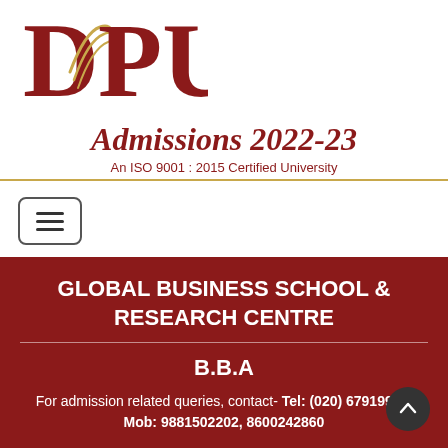[Figure (logo): DPU university logo with stylized D, P, U letters in dark red with gold accents]
Admissions 2022-23
An ISO 9001 : 2015 Certified University
[Figure (other): Hamburger menu button icon with three horizontal lines]
GLOBAL BUSINESS SCHOOL & RESEARCH CENTRE
B.B.A
For admission related queries, contact- Tel: (020) 67919999, Mob: 9881502202, 8600242860